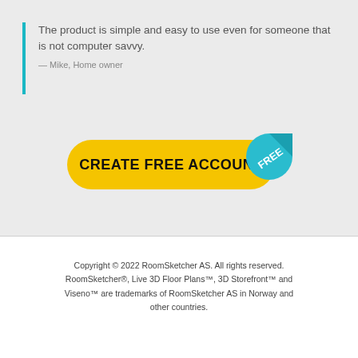The product is simple and easy to use even for someone that is not computer savvy.
— Mike, Home owner
[Figure (other): Yellow rounded rectangle button labeled CREATE FREE ACCOUNT with a teal FREE badge in top-right corner]
Copyright © 2022 RoomSketcher AS. All rights reserved. RoomSketcher®, Live 3D Floor Plans™, 3D Storefront™ and Viseno™ are trademarks of RoomSketcher AS in Norway and other countries.